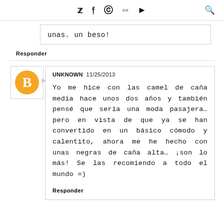Twitter Facebook Pinterest Instagram YouTube [search]
unas. un beso!
Responder
UNKNOWN 11/25/2013
Yo me hice con las camel de caña media hace unos dos años y también pensé que sería una moda pasajera… pero en vista de que ya se han convertido en un básico cómodo y calentito, ahora me he hecho con unas negras de caña alta… ¡son lo más! Se las recomiendo a todo el mundo =)
Responder